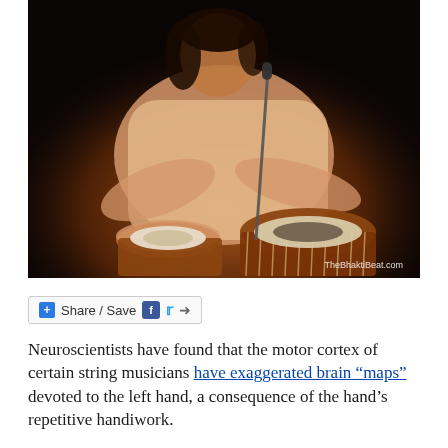[Figure (photo): A musician playing tabla drums on a dark stage, leaning over the drums with both hands, wearing a light-colored knit sweater. A microphone stand is visible. Watermark reads 'TheBhaktiBeat.com' in the lower right corner.]
Share / Save
Neuroscientists have found that the motor cortex of certain string musicians have exaggerated brain “maps” devoted to the left hand, a consequence of the hand’s repetitive handiwork.